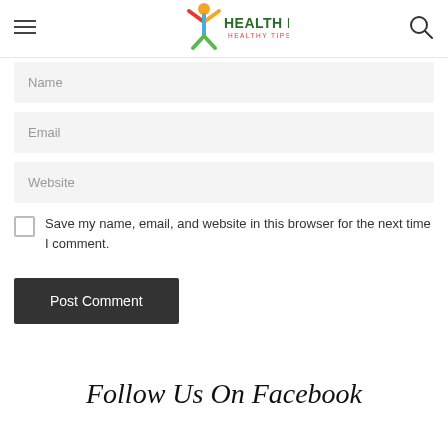Health News — Healthy Tips Forever
Name
Email
Website
Save my name, email, and website in this browser for the next time I comment.
Post Comment
Follow Us On Facebook